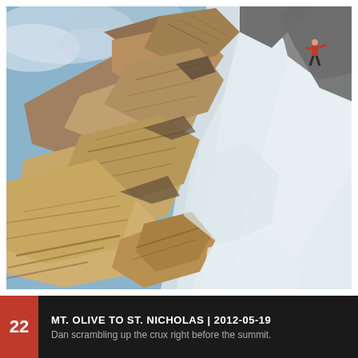[Figure (photo): A mountaineer in red jacket scrambling up rocky crux near a snowy summit ridge. Large angular brown and tan rock formations jut diagonally across a steep snow slope. Blue sky with clouds visible in upper left. Another figure visible at top right near the summit.]
22 MT. OLIVE TO ST. NICHOLAS | 2012-05-19 Dan scrambling up the crux right before the summit.